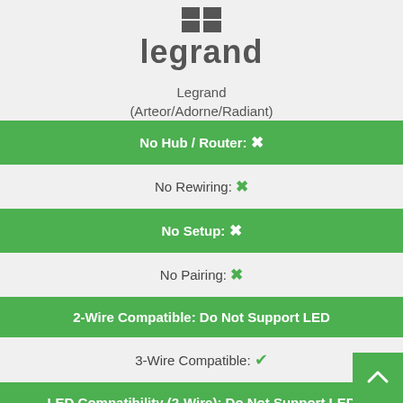[Figure (logo): Legrand logo with icon and text]
Legrand
(Arteor/Adorne/Radiant)
No Hub / Router: ✗
No Rewiring: ✗
No Setup: ✗
No Pairing: ✗
2-Wire Compatible: Do Not Support LED
3-Wire Compatible: ✓
LED Compatibility (2-Wire): Do Not Support LED
Two Operation Mode: ✗